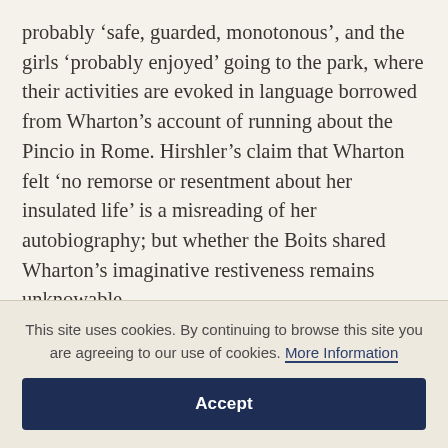probably 'safe, guarded, monotonous', and the girls 'probably enjoyed' going to the park, where their activities are evoked in language borrowed from Wharton's account of running about the Pincio in Rome. Hirshler's claim that Wharton felt 'no remorse or resentment about her insulated life' is a misreading of her autobiography; but whether the Boits shared Wharton's imaginative restiveness remains unknowable.
Some viewers have thought that by relegating the
This site uses cookies. By continuing to browse this site you are agreeing to our use of cookies. More Information
Accept